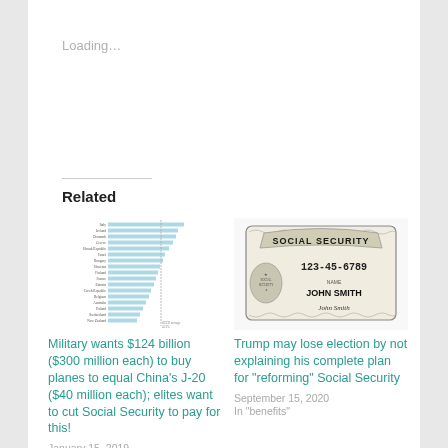Loading…
Related
[Figure (bar-chart): Horizontal bar chart showing country rankings, with OECD average line at 43.9%]
Military wants $124 billion ($300 million each) to buy planes to equal China's J-20 ($40 million each); elites want to cut Social Security to pay for this!
January 15, 2019
[Figure (illustration): Illustration of a Social Security card reading 123-45-6789 JOHN SMITH with signature]
Trump may lose election by not explaining his complete plan for "reforming" Social Security
September 15, 2020
In "benefits"